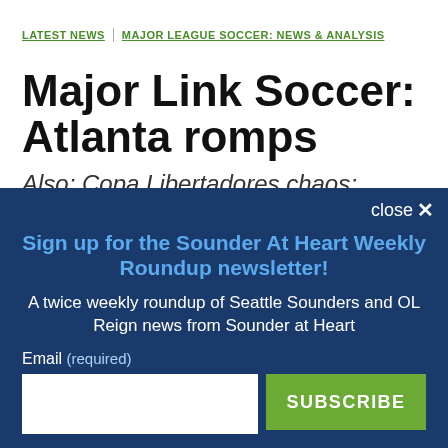LATEST NEWS  MAJOR LEAGUE SOCCER: NEWS & ANALYSIS
Major Link Soccer: Atlanta romps
Also: Copa Libertadores chaos; Portland-KC draw; Berhalter still presumed coach of
close ×
Sign up for the Sounder At Heart Weekly Roundup newsletter!
A twice weekly roundup of Seattle Sounders and OL Reign news from Sounder at Heart
Email (required)
SUBSCRIBE
By submitting your email, you agree to our Terms and Privacy Notice. You can opt out at any time. This site is protected by reCAPTCHA and the Google Privacy Policy and Terms of Service apply.